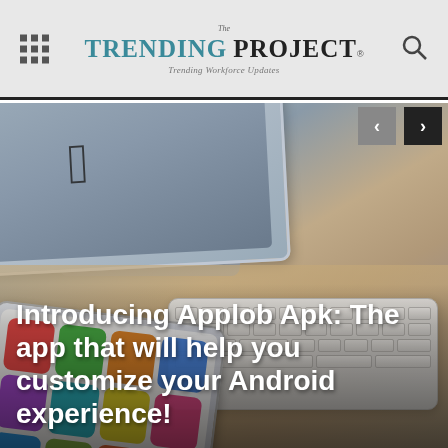The TRENDING PROJECT® — Trending Workforce Updates
[Figure (photo): Hero image showing an Apple iMac, Apple wireless keyboard, and a smartphone/tablet with app icons on a wooden desk surface, photographed from an angle. Navigation arrows visible top-right.]
Introducing Applob Apk: The app that will help you customize your Android experience!